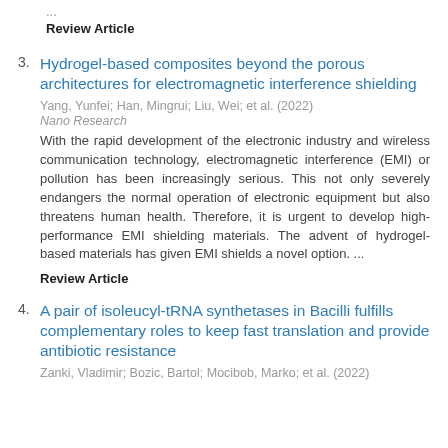...
Review Article
Hydrogel-based composites beyond the porous architectures for electromagnetic interference shielding
Yang, Yunfei; Han, Mingrui; Liu, Wei; et al. (2022)
Nano Research
With the rapid development of the electronic industry and wireless communication technology, electromagnetic interference (EMI) or pollution has been increasingly serious. This not only severely endangers the normal operation of electronic equipment but also threatens human health. Therefore, it is urgent to develop high-performance EMI shielding materials. The advent of hydrogel-based materials has given EMI shields a novel option. ...
Review Article
A pair of isoleucyl-tRNA synthetases in Bacilli fulfills complementary roles to keep fast translation and provide antibiotic resistance
Zanki, Vladimir; Bozic, Bartol; Mocibob, Marko; et al. (2022)